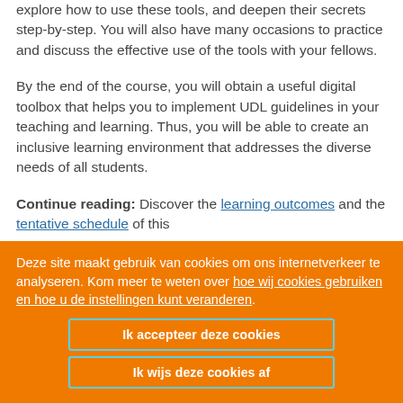explore how to use these tools, and deepen their secrets step-by-step. You will also have many occasions to practice and discuss the effective use of the tools with your fellows.
By the end of the course, you will obtain a useful digital toolbox that helps you to implement UDL guidelines in your teaching and learning. Thus, you will be able to create an inclusive learning environment that addresses the diverse needs of all students.
Continue reading: Discover the learning outcomes and the tentative schedule of this
Deze site maakt gebruik van cookies om ons internetverkeer te analyseren. Kom meer te weten over hoe wij cookies gebruiken en hoe u de instellingen kunt veranderen.
Ik accepteer deze cookies
Ik wijs deze cookies af